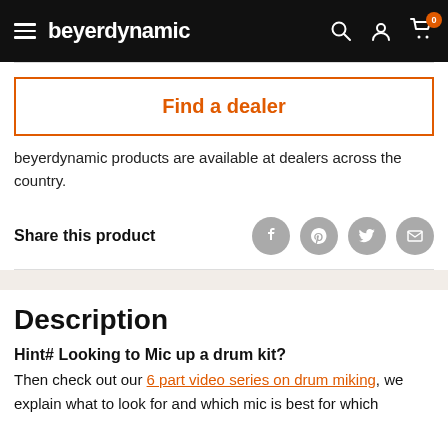beyerdynamic
Find a dealer
beyerdynamic products are available at dealers across the country.
Share this product
Description
Hint# Looking to Mic up a drum kit?
Then check out our 6 part video series on drum miking, we explain what to look for and which mic is best for which